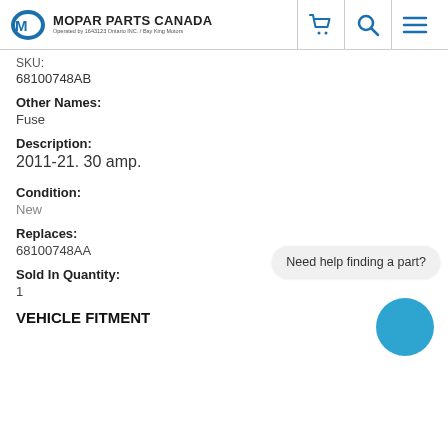MOPAR PARTS CANADA — Operated by 1643123 Ontario INC. / Bay King Motors
SKU:
68100748AB
Other Names:
Fuse
Description:
2011-21. 30 amp.
Condition:
New
Replaces:
68100748AA
Sold In Quantity:
1
VEHICLE FITMENT
Need help finding a part?